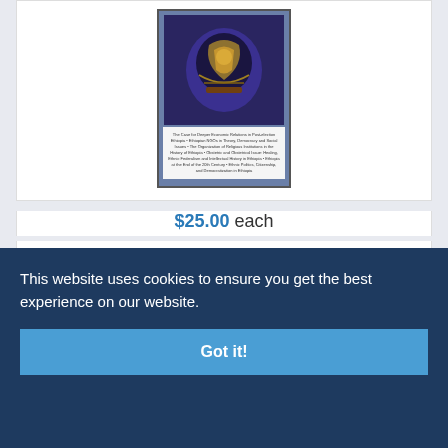[Figure (photo): Book cover of International Journal of Ethiopian Studies volume II with dark blue/purple artistic illustration and text listing article topics]
$25.00 each
International Journal of Ethiopian Studies [II, 1&...
[Figure (photo): Book cover of Diary of a Journey to Abyssinia, 1868 with brown-orange title text on blue background]
This website uses cookies to ensure you get the best experience on our website.
Got it!